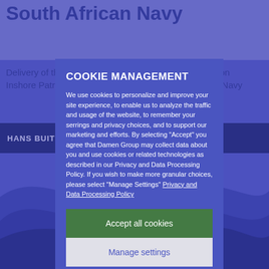South African Navy
Delivery of the first of three state-of-the-art Multi Mission Inshore Patrol Vessels (MMIPVs) to the South African Navy
HANS BUITE...
COOKIE MANAGEMENT
We use cookies to personalize and improve your site experience, to enable us to analyze the traffic and usage of the website, to remember your serrings and privacy choices, and to support our marketing and efforts. By selecting "Accept" you agree that Damen Group may collect data about you and use cookies or related technologies as described in our Privacy and Data Processing Policy. If you wish to make more granular choices, please select "Manage Settings" Privacy and Data Processing Policy
Accept all cookies
Manage settings